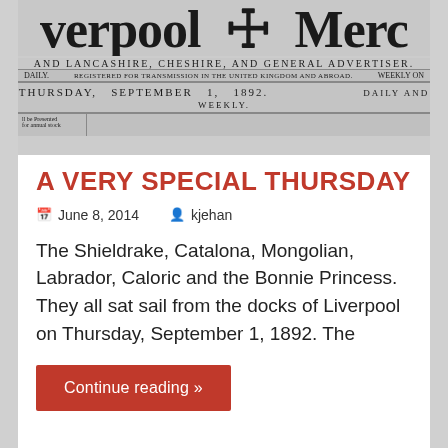[Figure (photo): Black and white photograph of the masthead of the Liverpool Mercury newspaper, dated Thursday, September 1, 1892. Shows the newspaper title in large blackletter font, with subtitle 'AND LANCASHIRE, CHESHIRE, AND GENERAL ADVERTISER.' and 'DAILY.' / 'WEEKLY ON' labels.]
A VERY SPECIAL THURSDAY
June 8, 2014   kjehan
The Shieldrake, Catalona, Mongolian, Labrador, Caloric and the Bonnie Princess. They all sat sail from the docks of Liverpool on Thursday, September 1, 1892. The
Continue reading »